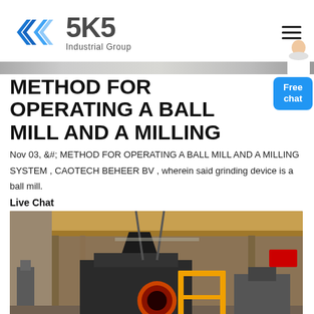[Figure (logo): SKS Industrial Group logo with blue diamond/chevron icon and grey SKS text with Industrial Group subtitle]
METHOD FOR OPERATING A BALL MILL AND A MILLING
Nov 03, &#; METHOD FOR OPERATING A BALL MILL AND A MILLING SYSTEM , CAOTECH BEHEER BV , wherein said grinding device is a ball mill.
Live Chat
[Figure (photo): Industrial factory interior showing heavy milling/ball mill machinery with yellow safety railing and crane equipment, large industrial building interior]